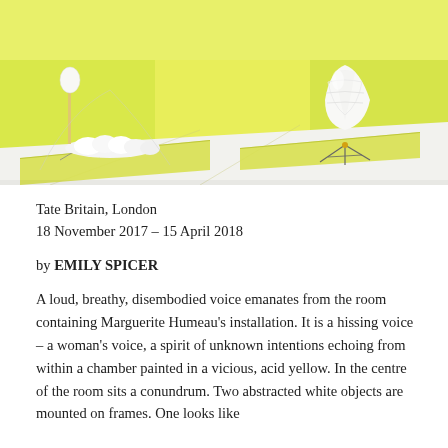[Figure (photo): Gallery installation photograph showing a bright acid yellow room with white sculptural objects on yellow floor mats. Left side shows a low horizontal white form on a yellow mat; right side shows a white shell-like object on a wire triangular stand on another yellow mat. The walls and floor of the gallery are bright yellow-green.]
Tate Britain, London
18 November 2017 – 15 April 2018
by EMILY SPICER
A loud, breathy, disembodied voice emanates from the room containing Marguerite Humeau's installation. It is a hissing voice – a woman's voice, a spirit of unknown intentions echoing from within a chamber painted in a vicious, acid yellow. In the centre of the room sits a conundrum. Two abstracted white objects are mounted on frames. One looks like